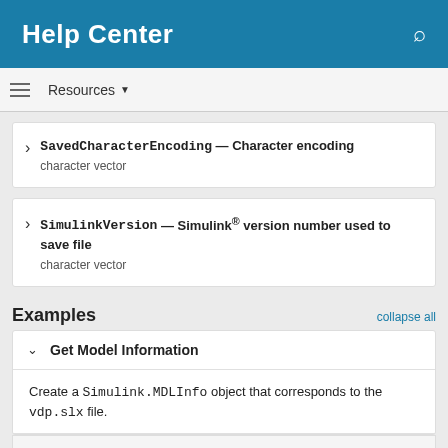Help Center
SavedCharacterEncoding — Character encoding
character vector
SimulinkVersion — Simulink® version number used to save file
character vector
Examples
Get Model Information
Create a Simulink.MDLInfo object that corresponds to the vdp.slx file.